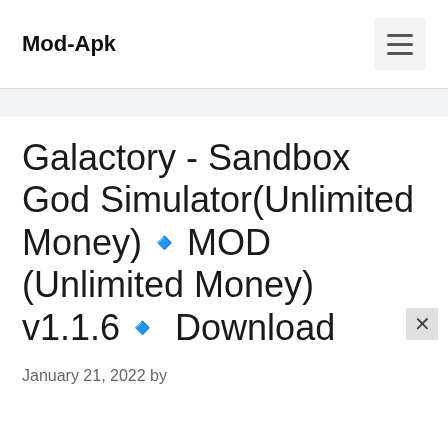Mod-Apk
Galactory - Sandbox God Simulator(Unlimited Money)🔹MOD (Unlimited Money) v1.1.6🔹 Download
January 21, 2022 by